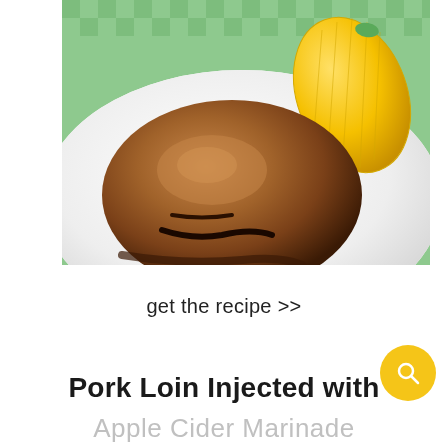[Figure (photo): A grilled pork loin steak on a white plate with yellow corn on the cob, served on a green checkered tablecloth background. The photo is taken from a slightly overhead angle with the steak in focus in the foreground.]
get the recipe >>
Pork Loin Injected with
Apple Cider Marinade